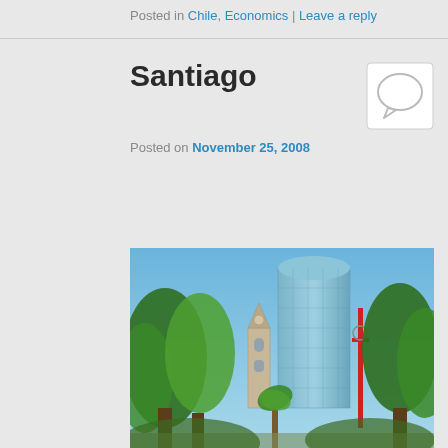Posted in Chile, Economics | Leave a reply
Santiago
Posted on November 25, 2008
[Figure (photo): Photograph of Santiago, Chile showing a large modern glass skyscraper tower alongside an historic church bell tower, surrounded by lush green trees including palms, under a clear blue sky. A red pole/antenna structure is visible on the right side.]